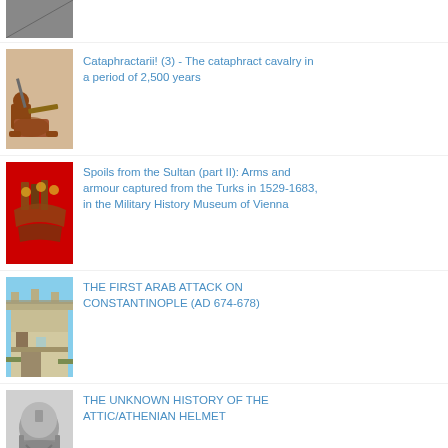[Figure (photo): Partial thumbnail of an article image at top of page, cropped]
Cataphractarii! (3) - The cataphract cavalry in a period of 2,500 years
[Figure (photo): Thumbnail of a medieval armoured knight on horseback figurine]
Spoils from the Sultan (part II): Arms and armour captured from the Turks in 1529-1683, in the Military History Museum of Vienna
[Figure (photo): Thumbnail of Turkish weapons on red background]
THE FIRST ARAB ATTACK ON CONSTANTINOPLE (AD 674-678)
[Figure (photo): Thumbnail of a castle or fortress with blue sky]
THE UNKNOWN HISTORY OF THE ATTIC/ATHENIAN HELMET
[Figure (photo): Thumbnail of an ancient Greek Attic helmet]